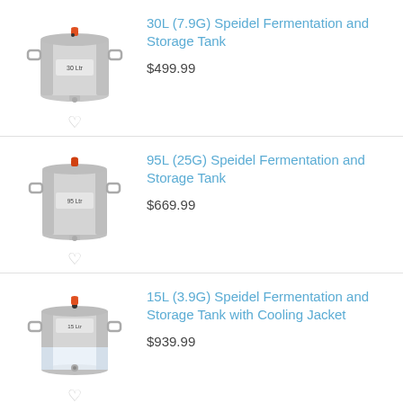[Figure (photo): 30L Speidel fermentation and storage tank, stainless steel cylindrical tank with orange lid knob, handles on sides, label on front]
30L (7.9G) Speidel Fermentation and Storage Tank
$499.99
[Figure (photo): 95L Speidel fermentation and storage tank, stainless steel tall cylindrical tank with orange lid knob, handles on sides]
95L (25G) Speidel Fermentation and Storage Tank
$669.99
[Figure (photo): 15L Speidel fermentation and storage tank with cooling jacket, stainless steel with transparent lower section, orange lid knob]
15L (3.9G) Speidel Fermentation and Storage Tank with Cooling Jacket
$939.99